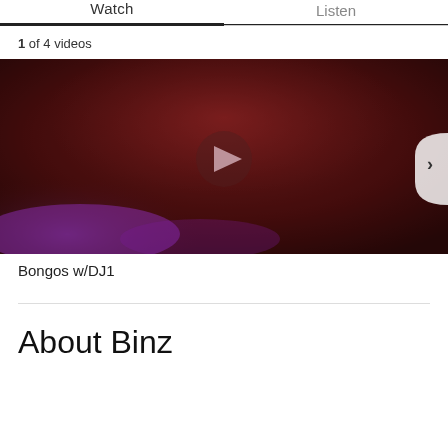Watch | Listen
1 of 4 videos
[Figure (screenshot): Video thumbnail showing a dark reddish concert/performance scene with a play button in the center and a next arrow on the right side.]
Bongos w/DJ1
About Binz